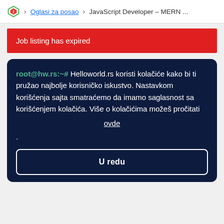Oglasi za posao > JavaScript Developer – MERN ...
Job listing has expired
root@hw.rs:~# Helloworld.rs koristi kolačiće kako bi ti pružao najbolje korisničko iskustvo. Nastavkom korišćenja sajta smatraćemo da imamo saglasnost sa korišćenjem kolačića. Više o kolačićima možeš pročitati
ovde
.
U redu